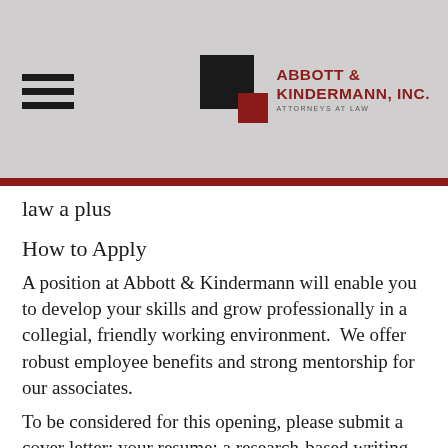ABBOTT & KINDERMANN, INC. ATTORNEYS AT LAW
law a plus
How to Apply
A position at Abbott & Kindermann will enable you to develop your skills and grow professionally in a collegial, friendly working environment.  We offer robust employee benefits and strong mentorship for our associates.
To be considered for this opening, please submit a cover letter; your resume; a research-based writing sample (such as a research memo); and a persuasive writing sample.  Please send to Jeaninne Budowich at jbudowich@aklandlaw.com